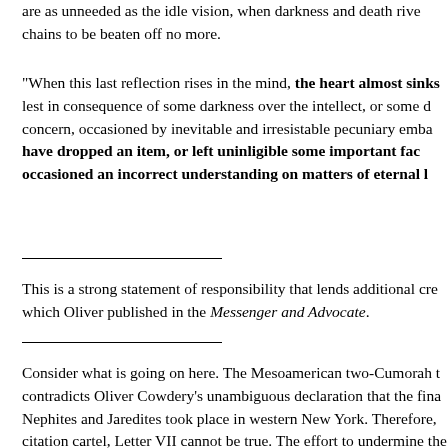are as unneeded as the idle vision, when darkness and death rivet chains to be beaten off no more.
"When this last reflection rises in the mind, the heart almost sinks lest in consequence of some darkness over the intellect, or some concern, occasioned by inevitable and irresistable pecuniary emba have dropped an item, or left unintelligible some important fac occasioned an incorrect understanding on matters of eternal l
This is a strong statement of responsibility that lends additional cre which Oliver published in the Messenger and Advocate.
Consider what is going on here. The Mesoamerican two-Cumorah contradicts Oliver Cowdery's unambiguous declaration that the fina Nephites and Jaredites took place in western New York. Therefore, citation cartel, Letter VII cannot be true. The effort to undermine the reliability of Oliver Cowdery has only one purpose: to defend an ide the Mesoamerican theory of Book of Mormon geography.
They go on to insist that Joseph Smith passively adopted Cowdery he had his scribes copy Letter VII into his journal, saw Letter VII re